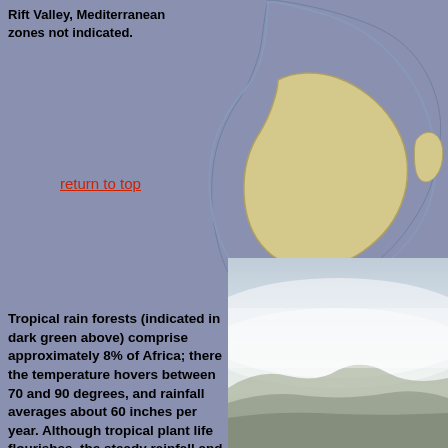Rift Valley, Mediterranean zones not indicated.
return to top
[Figure (map): Partial map of southern Africa showing vegetation zones, with a tan/yellow region indicating a geographic zone against a blue-gray background.]
[Figure (photo): Misty landscape photo showing mountains or hills fading into fog/haze, bottom-right of page.]
Tropical rain forests (indicated in dark green above) comprise approximately 8% of Africa; there the temperature hovers between 70 and 90 degrees, and rainfall averages about 60 inches per year. Although tropical plant life flourishes, the steady rainfall and perpetual dampness have the effect of leeching nutrients out of the soil, making it next to impossible to raise non-native species. Horses and cattle cannot survive in the rain